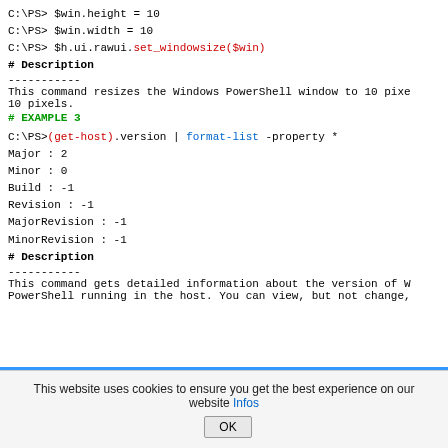C:\PS> $win.height = 10
C:\PS> $win.width = 10
C:\PS> $h.ui.rawui.set_windowsize($win)
# Description
-----------
This command resizes the Windows PowerShell window to 10 pixels wide by 10 pixels.
# EXAMPLE 3
C:\PS>(get-host).version | format-list -property *
Major : 2
Minor : 0
Build : -1
Revision : -1
MajorRevision : -1
MinorRevision : -1
# Description
-----------
This command gets detailed information about the version of Windows PowerShell running in the host. You can view, but not change,
This website uses cookies to ensure you get the best experience on our website Infos OK